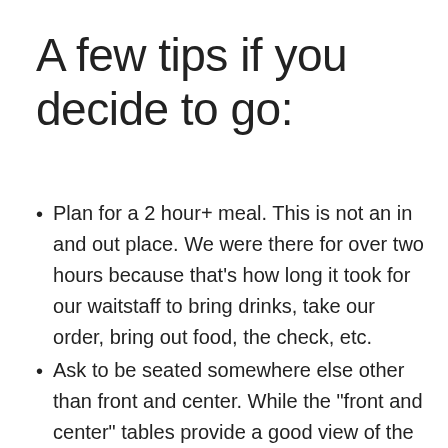A few tips if you decide to go:
Plan for a 2 hour+ meal. This is not an in and out place. We were there for over two hours because that's how long it took for our waitstaff to bring drinks, take our order, bring out food, the check, etc.
Ask to be seated somewhere else other than front and center. While the “front and center” tables provide a good view of the